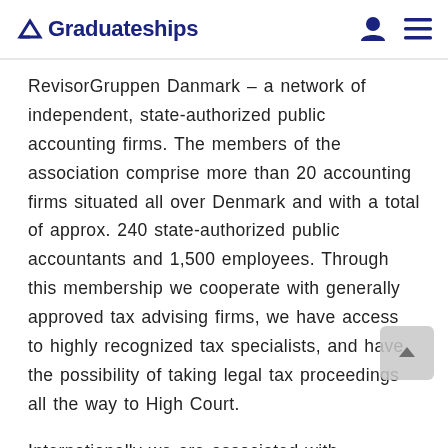Graduateships
RevisorGruppen Danmark – a network of independent, state-authorized public accounting firms. The members of the association comprise more than 20 accounting firms situated all over Denmark and with a total of approx. 240 state-authorized public accountants and 1,500 employees. Through this membership we cooperate with generally approved tax advising firms, we have access to highly recognized tax specialists, and have the possibility of taking legal tax proceedings all the way to High Court.
Internationally we are associated with